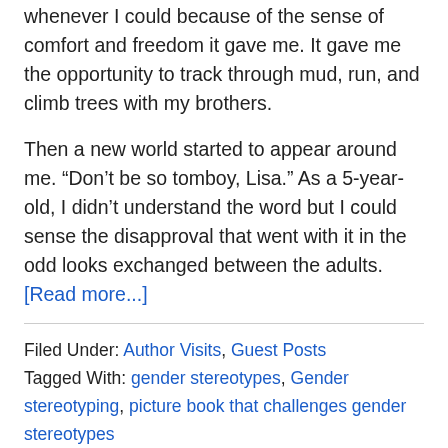whenever I could because of the sense of comfort and freedom it gave me. It gave me the opportunity to track through mud, run, and climb trees with my brothers.
Then a new world started to appear around me. “Don’t be so tomboy, Lisa.” As a 5-year-old, I didn’t understand the word but I could sense the disapproval that went with it in the odd looks exchanged between the adults. [Read more...]
Filed Under: Author Visits, Guest Posts
Tagged With: gender stereotypes, Gender stereotyping, picture book that challenges gender stereotypes